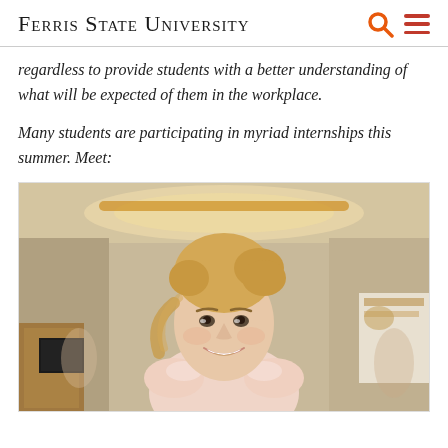Ferris State University
regardless to provide students with a better understanding of what will be expected of them in the workplace.
Many students are participating in myriad internships this summer. Meet:
[Figure (photo): A smiling young woman with blonde hair pulled back, wearing a light pink ruffled top, standing indoors in what appears to be a lobby or reception area with warm lighting and a circular ceiling detail.]